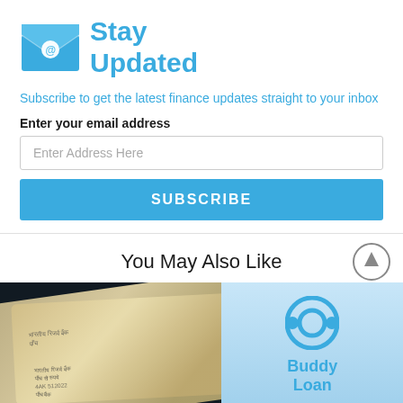[Figure (logo): Blue envelope icon with @ symbol and 'Stay Updated' text in blue]
Subscribe to get the latest finance updates straight to your inbox
Enter your email address
Enter Address Here
SUBSCRIBE
You May Also Like
[Figure (photo): Indian currency notes (Rupee) fanned out on a dark background next to a smartphone showing the Buddy Loan app logo]